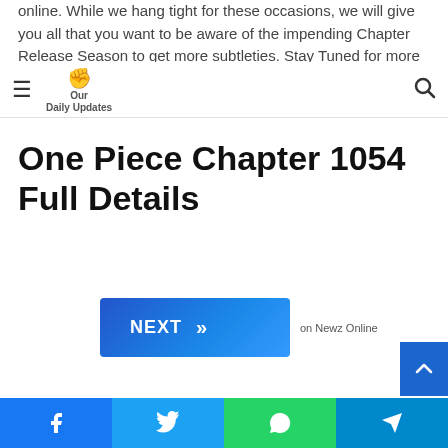online. While we hang tight for these occasions, we will give you all that you want to be aware of the impending Chapter Release Season to get more subtleties. Stay Tuned for more latest news. Our Daily Updates
Our Daily Updates — hamburger menu and search
One Piece Chapter 1054 Full Details
[Figure (other): NEXT button with double chevron arrows, labeled 'on Newz Online']
Facebook, Twitter, WhatsApp, Telegram share buttons